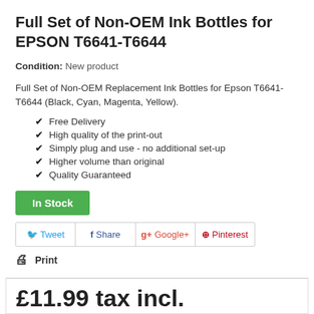Full Set of Non-OEM Ink Bottles for EPSON T6641-T6644
Condition: New product
Full Set of Non-OEM Replacement Ink Bottles for Epson T6641-T6644 (Black, Cyan, Magenta, Yellow).
Free Delivery
High quality of the print-out
Simply plug and use - no additional set-up
Higher volume than original
Quality Guaranteed
In Stock
Tweet  Share  Google+  Pinterest
Print
£11.99 tax incl.